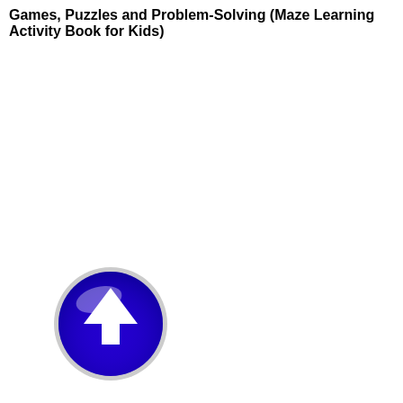Games, Puzzles and Problem-Solving (Maze Learning Activity Book for Kids)
[Figure (illustration): A glossy blue circular button/icon with a white upward-pointing arrow in the center, with a light reflection highlight at the top.]